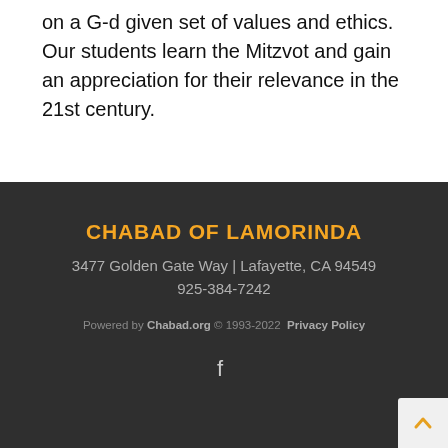on a G-d given set of values and ethics. Our students learn the Mitzvot and gain an appreciation for their relevance in the 21st century.
CHABAD OF LAMORINDA
3477 Golden Gate Way | Lafayette, CA 94549
925-384-7242
Powered by Chabad.org © 1993-2022 Privacy Policy